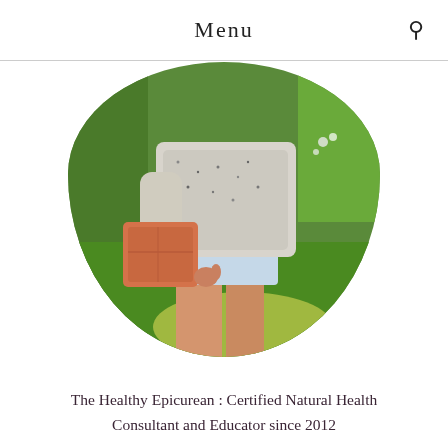Menu
[Figure (photo): Circular cropped photo of a person standing outdoors on grass, wearing a grey knit sweater and light blue shorts, holding an orange/coral clutch bag. The background shows green foliage and lawn.]
The Healthy Epicurean : Certified Natural Health Consultant and Educator since 2012